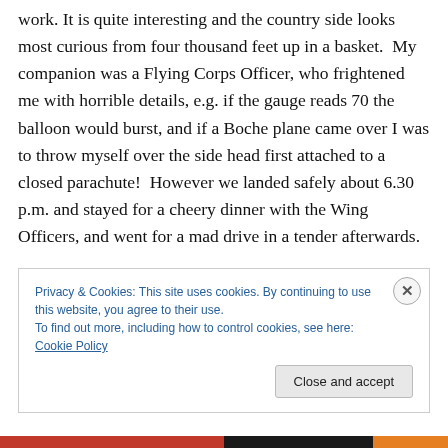work. It is quite interesting and the country side looks most curious from four thousand feet up in a basket.  My companion was a Flying Corps Officer, who frightened me with horrible details, e.g. if the gauge reads 70 the balloon would burst, and if a Boche plane came over I was to throw myself over the side head first attached to a closed parachute!  However we landed safely about 6.30 p.m. and stayed for a cheery dinner with the Wing Officers, and went for a mad drive in a tender afterwards.
Privacy & Cookies: This site uses cookies. By continuing to use this website, you agree to their use.
To find out more, including how to control cookies, see here: Cookie Policy
Close and accept